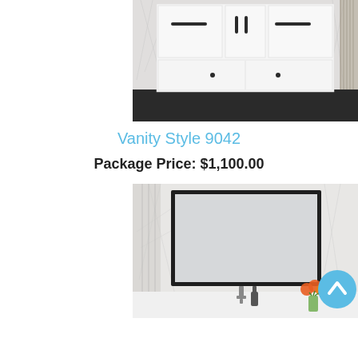[Figure (photo): White bathroom vanity cabinet with black handles and two drawers at the bottom, set against a decorative wall background]
Vanity Style 9042
Package Price: $1,100.00
[Figure (photo): Bathroom mirror with black rectangular frame mounted on a decorative wall, with a sink faucet and orange flowers in a vase visible below]